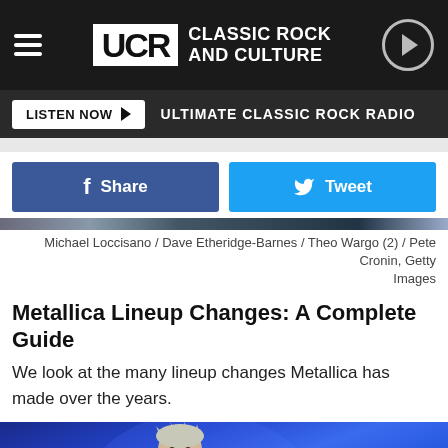UCR CLASSIC ROCK AND CULTURE
LISTEN NOW ▶ ULTIMATE CLASSIC ROCK RADIO
Share
Tweet
Michael Loccisano / Dave Etheridge-Barnes / Theo Wargo (2) / Pete Cronin, Getty Images
Metallica Lineup Changes: A Complete Guide
We look at the many lineup changes Metallica has made over the years.
[Figure (photo): Concert photo showing a singer performing live on stage with blue stage lighting, with another musician visible in the background wearing a hat.]